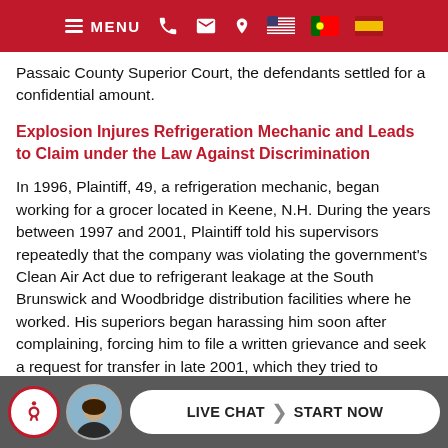MENU [navigation icons: phone, mail, location, US flag, PT flag, ES flag]
Passaic County Superior Court, the defendants settled for a confidential amount.
Explosion Injures Refrigeration Mechanic and Leads to Claim under the Law Against Discrimination
In 1996, Plaintiff, 49, a refrigeration mechanic, began working for a grocer located in Keene, N.H. During the years between 1997 and 2001, Plaintiff told his supervisors repeatedly that the company was violating the government's Clean Air Act due to refrigerant leakage at the South Brunswick and Woodbridge distribution facilities where he worked. His superiors began harassing him soon after complaining, forcing him to file a written grievance and seek a request for transfer in late 2001, which they tried to prevent. Later, with the help from his union, he was transferred to the Woodbridge facility, but was demoted and eventually terminated on [date] 200[?]...
LIVE CHAT > START NOW